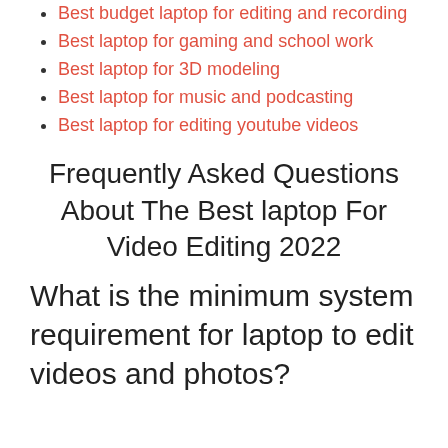Best budget laptop for editing and recording
Best laptop for gaming and school work
Best laptop for 3D modeling
Best laptop for music and podcasting
Best laptop for editing youtube videos
Frequently Asked Questions About The Best laptop For Video Editing 2022
What is the minimum system requirement for laptop to edit videos and photos?